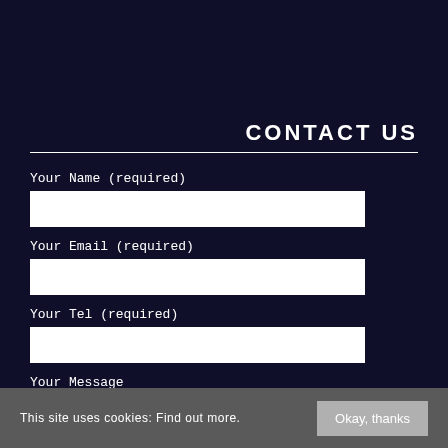CONTACT US
Your Name (required)
Your Email (required)
Your Tel (required)
Your Message
This site uses cookies: Find out more.
Okay, thanks